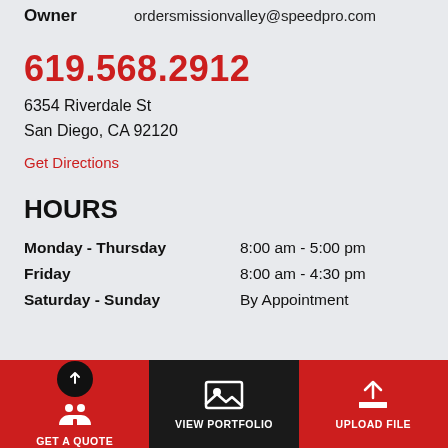Owner    ordersmissionvalley@speedpro.com
619.568.2912
6354 Riverdale St
San Diego, CA 92120
Get Directions
HOURS
| Day | Hours |
| --- | --- |
| Monday - Thursday | 8:00 am - 5:00 pm |
| Friday | 8:00 am - 4:30 pm |
| Saturday - Sunday | By Appointment |
[Figure (infographic): Bottom navigation bar with three buttons: GET A QUOTE (red, with circular black button with up arrow and people icon), VIEW PORTFOLIO (dark/black, with image icon), UPLOAD FILE (red, with upload icon)]